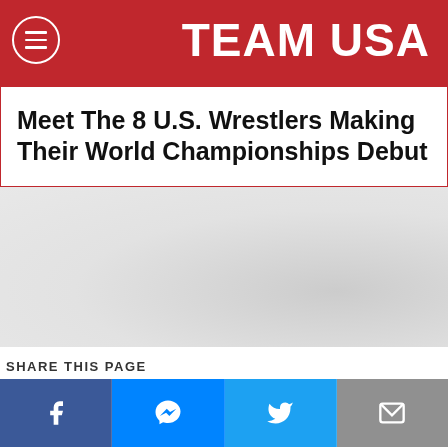TEAM USA
Meet The 8 U.S. Wrestlers Making Their World Championships Debut
SHARE THIS PAGE
[Figure (infographic): Social share buttons: Facebook, Messenger, Twitter, Email]
ABOUT